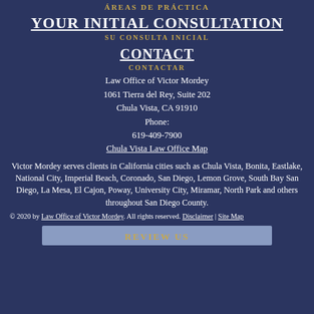ÁREAS DE PRÁCTICA
YOUR INITIAL CONSULTATION
SU CONSULTA INICIAL
CONTACT
CONTACTAR
Law Office of Victor Mordey
1061 Tierra del Rey, Suite 202
Chula Vista, CA 91910
Phone:
619-409-7900
Chula Vista Law Office Map
Victor Mordey serves clients in California cities such as Chula Vista, Bonita, Eastlake, National City, Imperial Beach, Coronado, San Diego, Lemon Grove, South Bay San Diego, La Mesa, El Cajon, Poway, University City, Miramar, North Park and others throughout San Diego County.
© 2020 by Law Office of Victor Mordey. All rights reserved. Disclaimer | Site Map
REVIEW US